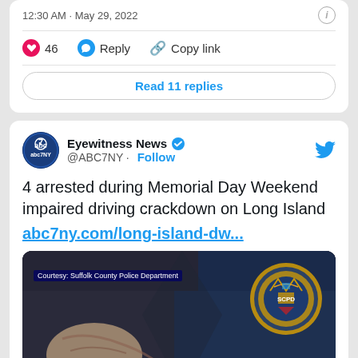12:30 AM · May 29, 2022
46  Reply  Copy link
Read 11 replies
Eyewitness News @ABC7NY · Follow
4 arrested during Memorial Day Weekend impaired driving crackdown on Long Island abc7ny.com/long-island-dw...
[Figure (photo): Police officer handcuffing someone, with Suffolk County Police Department logo visible. Caption bar reads: Courtesy: Suffolk County Police Department]